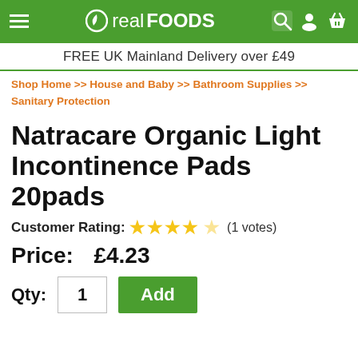real FOODS — FREE UK Mainland Delivery over £49
Shop Home >> House and Baby >> Bathroom Supplies >> Sanitary Protection
Natracare Organic Light Incontinence Pads 20pads
Customer Rating: ★★★★☆ (1 votes)
Price: £4.23
Qty: 1  Add